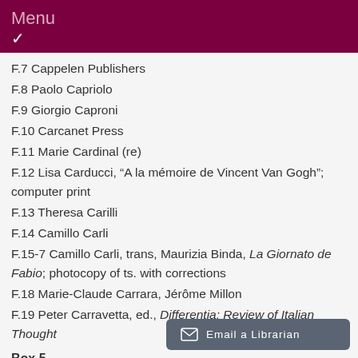Menu
F.7 Cappelen Publishers
F.8 Paolo Capriolo
F.9 Giorgio Caproni
F.10 Carcanet Press
F.11 Marie Cardinal (re)
F.12 Lisa Carducci, “A la mémoire de Vincent Van Gogh”; computer print
F.13 Theresa Carilli
F.14 Camillo Carli
F.15-7 Camillo Carli, trans, Maurizia Binda, La Giornato de Fabio; photocopy of ts. with corrections
F.18 Marie-Claude Carrara, Jérôme Millon
F.19 Peter Carravetta, ed., Differentia: Review of Italian Thought
Box 5
F.1-4 Tonino Caticchio, Petite